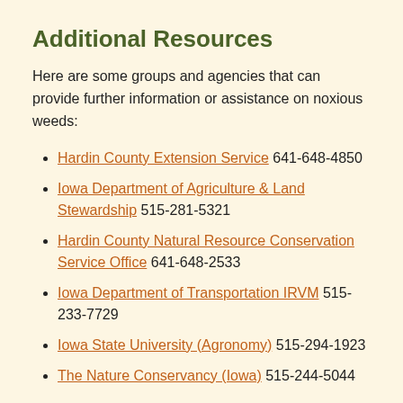Additional Resources
Here are some groups and agencies that can provide further information or assistance on noxious weeds:
Hardin County Extension Service 641-648-4850
Iowa Department of Agriculture & Land Stewardship 515-281-5321
Hardin County Natural Resource Conservation Service Office 641-648-2533
Iowa Department of Transportation IRVM 515-233-7729
Iowa State University (Agronomy) 515-294-1923
The Nature Conservancy (Iowa) 515-244-5044
Quick Links
2018 Weed Resolution (PDF)